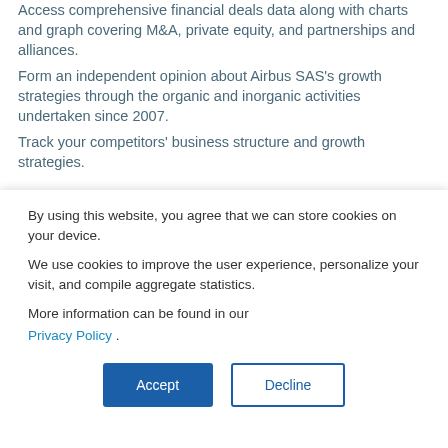Access comprehensive financial deals data along with charts and graph covering M&A, private equity, and partnerships and alliances.
Form an independent opinion about Airbus SAS's growth strategies through the organic and inorganic activities undertaken since 2007.
Track your competitors' business structure and growth strategies.
By using this website, you agree that we can store cookies on your device.
We use cookies to improve the user experience, personalize your visit, and compile aggregate statistics.
More information can be found in our Privacy Policy .